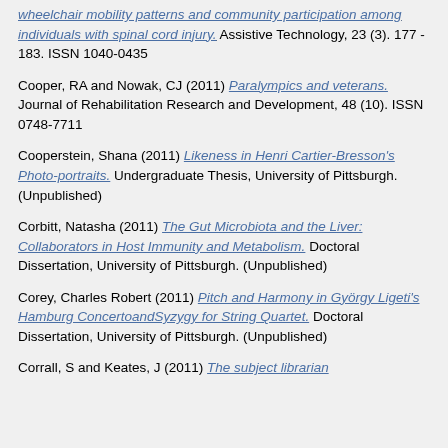wheelchair mobility patterns and community participation among individuals with spinal cord injury. Assistive Technology, 23 (3). 177 - 183. ISSN 1040-0435
Cooper, RA and Nowak, CJ (2011) Paralympics and veterans. Journal of Rehabilitation Research and Development, 48 (10). ISSN 0748-7711
Cooperstein, Shana (2011) Likeness in Henri Cartier-Bresson's Photo-portraits. Undergraduate Thesis, University of Pittsburgh. (Unpublished)
Corbitt, Natasha (2011) The Gut Microbiota and the Liver: Collaborators in Host Immunity and Metabolism. Doctoral Dissertation, University of Pittsburgh. (Unpublished)
Corey, Charles Robert (2011) Pitch and Harmony in György Ligeti's Hamburg ConcertoandSyzygy for String Quartet. Doctoral Dissertation, University of Pittsburgh. (Unpublished)
Corrall, S and Keates, J (2011) The subject librarian